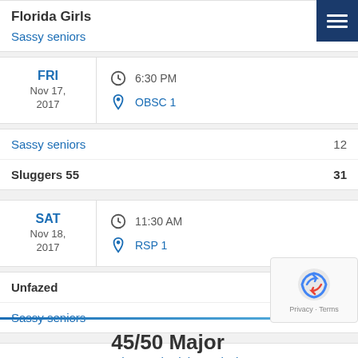Florida Girls
Sassy seniors  4
FRI Nov 17, 2017  6:30 PM  OBSC 1
Sassy seniors  12
Sluggers 55  31
SAT Nov 18, 2017  11:30 AM  RSP 1
Unfazed  18
Sassy seniors  6
Show Schedule Analysis
45/50 Major